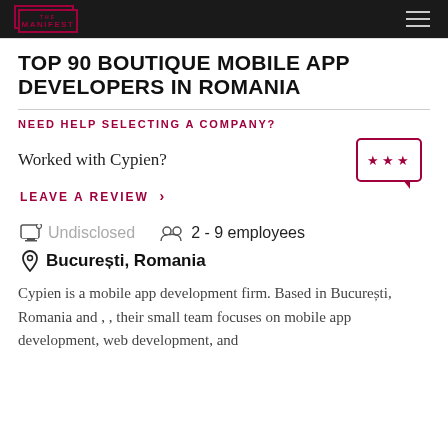THE MANIFEST
TOP 90 BOUTIQUE MOBILE APP DEVELOPERS IN ROMANIA
NEED HELP SELECTING A COMPANY?
Worked with Cypien?
LEAVE A REVIEW >
Undisclosed
2 - 9 employees
București, Romania
Cypien is a mobile app development firm. Based in București, Romania and , , their small team focuses on mobile app development, web development, and